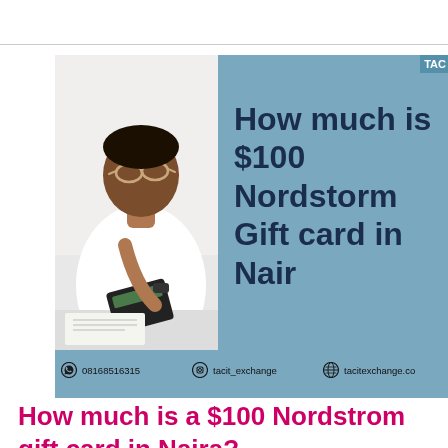[Figure (photo): Promotional banner image showing a man in a white sweater looking down at a calculator, with a blue textured background on the right side displaying bold text 'How much is $100 Nordstorm Gift card in Nair' and a TAC badge. Below the image is a blue contact strip with phone number 08168516315, Instagram tacit_exchange, and website tacitexchange.com]
How much is a $100 Nordstrom gift card in Naira?